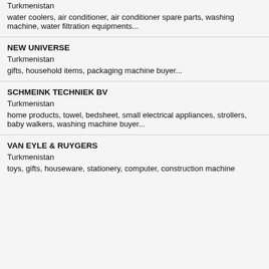Turkmenistan
water coolers, air conditioner, air conditioner spare parts, washing machine, water filtration equipments...
NEW UNIVERSE
Turkmenistan
gifts, household items, packaging machine buyer...
SCHMEINK TECHNIEK BV
Turkmenistan
home products, towel, bedsheet, small electrical appliances, strollers, baby walkers, washing machine buyer...
VAN EYLE & RUYGERS
Turkmenistan
toys, gifts, houseware, stationery, computer, construction machine